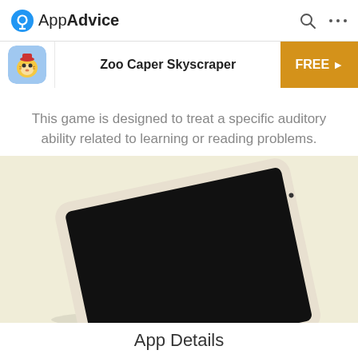AppAdvice
Zoo Caper Skyscraper
This game is designed to treat a specific auditory ability related to learning or reading problems.
[Figure (photo): An Apple iPad with a black screen, photographed at an angle against a light beige/cream background]
App Details